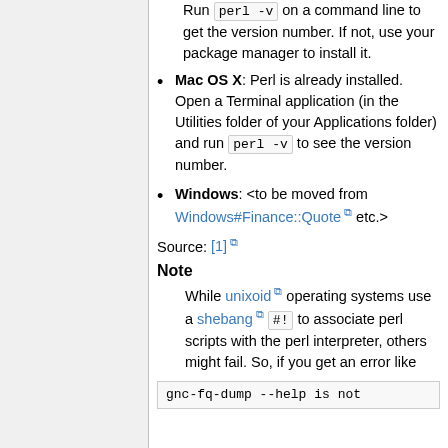Run perl -v on a command line to get the version number. If not, use your package manager to install it.
Mac OS X: Perl is already installed. Open a Terminal application (in the Utilities folder of your Applications folder) and run perl -v to see the version number.
Windows: <to be moved from Windows#Finance::Quote etc.>
Source: [1]
Note
While unixoid operating systems use a shebang #! to associate perl scripts with the perl interpreter, others might fail. So, if you get an error like
gnc-fq-dump --help is not